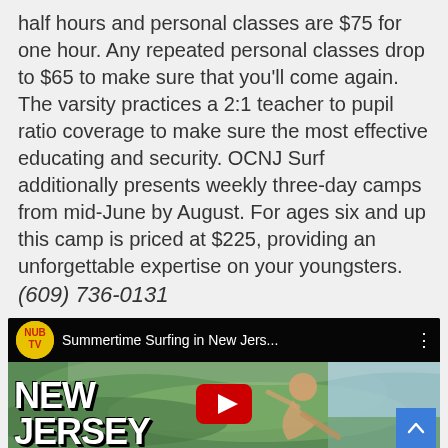half hours and personal classes are $75 for one hour. Any repeated personal classes drop to $65 to make sure that you'll come again. The varsity practices a 2:1 teacher to pupil ratio coverage to make sure the most effective educating and security. OCNJ Surf additionally presents weekly three-day camps from mid-June by August. For ages six and up this camp is priced at $225, providing an unforgettable expertise on your youngsters.
(609) 736-0131
[Figure (screenshot): YouTube video thumbnail for 'Summertime Surfing in New Jers...' by NUB TV, showing a surfer riding a wave with 'NEW JERSEY' text overlay and a YouTube play button. A blue scroll-to-top button is visible in the bottom right corner.]